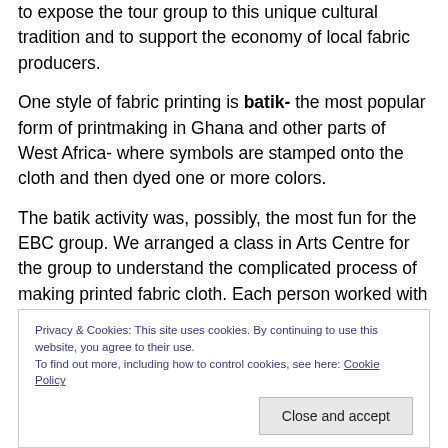to expose the tour group to this unique cultural tradition and to support the economy of local fabric producers.
One style of fabric printing is batik- the most popular form of printmaking in Ghana and other parts of West Africa- where symbols are stamped onto the cloth and then dyed one or more colors.
The batik activity was, possibly, the most fun for the EBC group. We arranged a class in Arts Centre for the group to understand the complicated process of making printed fabric cloth. Each person worked with professional batik
Privacy & Cookies: This site uses cookies. By continuing to use this website, you agree to their use.
To find out more, including how to control cookies, see here: Cookie Policy